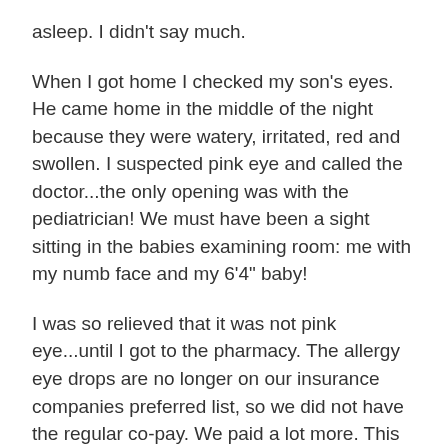asleep. I didn't say much.
When I got home I checked my son's eyes. He came home in the middle of the night because they were watery, irritated, red and swollen. I suspected pink eye and called the doctor...the only opening was with the pediatrician! We must have been a sight sitting in the babies examining room: me with my numb face and my 6'4" baby!
I was so relieved that it was not pink eye...until I got to the pharmacy. The allergy eye drops are no longer on our insurance companies preferred list, so we did not have the regular co-pay. We paid a lot more. This particular eye drop is so effective that I call it “Liquid Gold”.